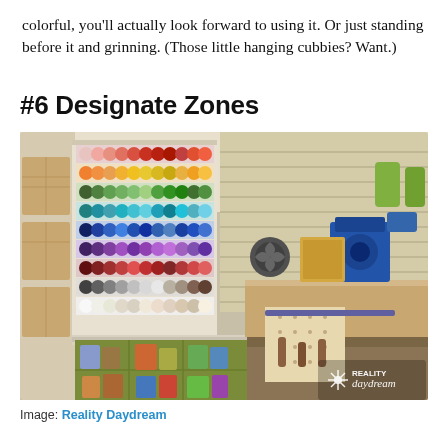colorful, you'll actually look forward to using it. Or just standing before it and grinning. (Those little hanging cubbies? Want.)
#6 Designate Zones
[Figure (photo): A well-organized workshop/craft room showing a large wall-mounted paint bottle rack with colorful bottles arranged by color on the left, green shelving cubbies below filled with paint cans and supplies, and a wooden workbench with pegboard and tools on the right. A Reality Daydream watermark is visible in the bottom right corner.]
Image: Reality Daydream